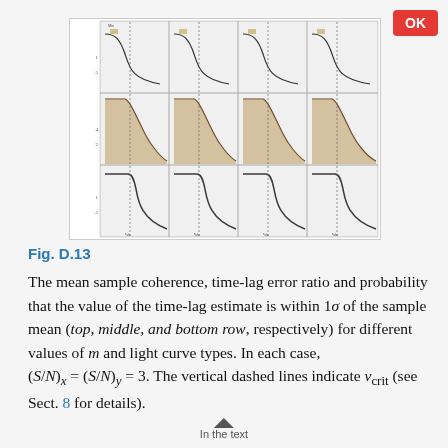[Figure (other): A 3x4 grid of small plots showing mean sample coherence (top row), time-lag error ratio (middle row), and probability within 1 sigma (bottom row) for different values of m and light curve types, with vertical dashed lines indicating v_crit.]
Fig. D.13
The mean sample coherence, time-lag error ratio and probability that the value of the time-lag estimate is within 1σ of the sample mean (top, middle, and bottom row, respectively) for different values of m and light curve types. In each case, (S/N)_x = (S/N)_y = 3. The vertical dashed lines indicate v_crit (see Sect. 8 for details).